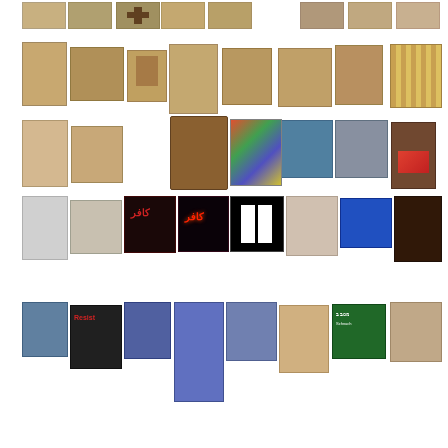[Figure (photo): Grid of artwork thumbnail images arranged in 6 rows. Row 1 (partial, top): 8 small thumbnail images of beige/brown artworks. Row 2: 8 thumbnails of ancient manuscript/document artworks in beige and brown tones. Row 3: 8 thumbnails including sketches, photographs, colorful paintings, and portraits. Row 4: 8 thumbnails including abstract art, graffiti text, black and white art, portrait of woman, street scene. Row 5: 8 thumbnails including photographs of people, food stall sign, portrait. Row 6 shows bottom row.]